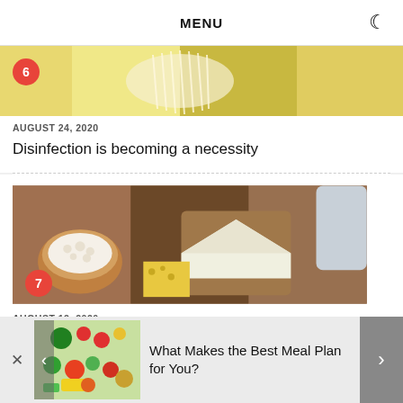MENU
[Figure (photo): Close-up of food items including what appears to be garlic and yellow peppers/cheese, with a red badge showing number 6]
AUGUST 24, 2020
Disinfection is becoming a necessity
[Figure (photo): Overhead view of various dairy products including cheese, cottage cheese, milk on a rustic wooden table, with a red badge showing number 7]
AUGUST 12, 2020
[Figure (photo): Overhead view of colorful vegetables and fruits laid out flat]
What Makes the Best Meal Plan for You?